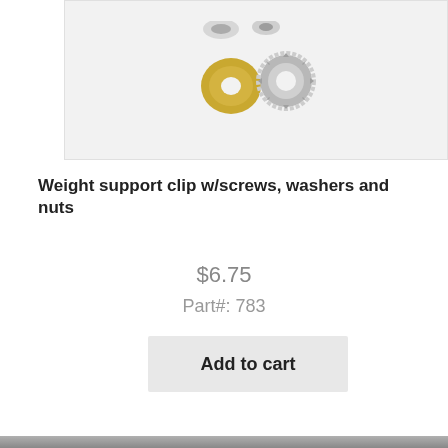[Figure (photo): Product photo showing a washer (gold/yellow flat ring) and a serrated lock nut (silver/chrome gear-shaped ring) on a light gray background, with partial view of other hardware items at the top.]
Weight support clip w/screws, washers and nuts
$6.75
Part#: 783
Add to cart